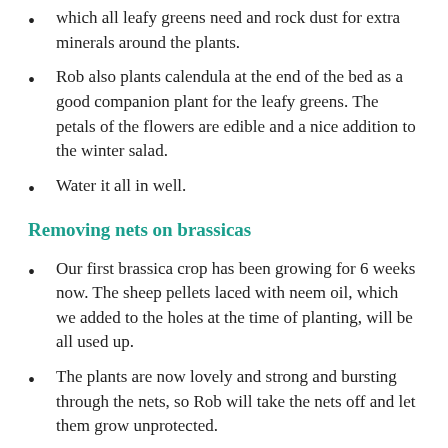which all leafy greens need and rock dust for extra minerals around the plants.
Rob also plants calendula at the end of the bed as a good companion plant for the leafy greens. The petals of the flowers are edible and a nice addition to the winter salad.
Water it all in well.
Removing nets on brassicas
Our first brassica crop has been growing for 6 weeks now. The sheep pellets laced with neem oil, which we added to the holes at the time of planting, will be all used up.
The plants are now lovely and strong and bursting through the nets, so Rob will take the nets off and let them grow unprotected.
There are less white butterflies and caterpillars around with the cold of winter setting in, but if